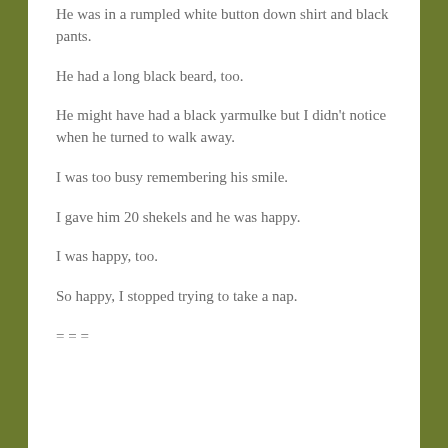He was in a rumpled white button down shirt and black pants.
He had a long black beard, too.
He might have had a black yarmulke but I didn't notice when he turned to walk away.
I was too busy remembering his smile.
I gave him 20 shekels and he was happy.
I was happy, too.
So happy, I stopped trying to take a nap.
= = =